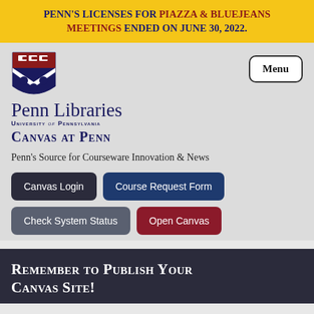Penn's licenses for Piazza & BlueJeans Meetings ended on June 30, 2022.
[Figure (logo): University of Pennsylvania shield logo with red top panel and navy chevron with three dots]
Penn Libraries University of Pennsylvania
Canvas at Penn
Penn's Source for Courseware Innovation & News
Canvas Login
Course Request Form
Check System Status
Open Canvas
Remember to Publish Your Canvas Site!